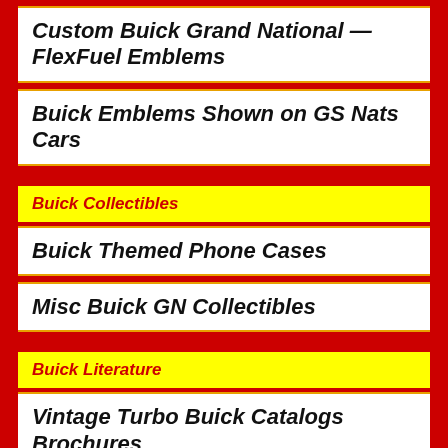Custom Buick Grand National — FlexFuel Emblems
Buick Emblems Shown on GS Nats Cars
Buick Collectibles
Buick Themed Phone Cases
Misc Buick GN Collectibles
Buick Literature
Vintage Turbo Buick Catalogs Brochures
How to Mod Your Turbo Buick Books